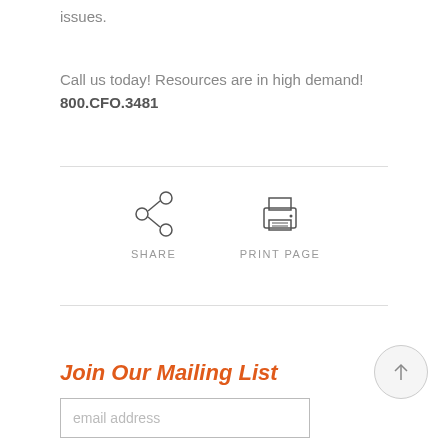issues.
Call us today! Resources are in high demand! 800.CFO.3481
[Figure (illustration): Share icon (circle with three nodes connected) and print page icon (printer), each with a label below: SHARE and PRINT PAGE]
Join Our Mailing List
email address